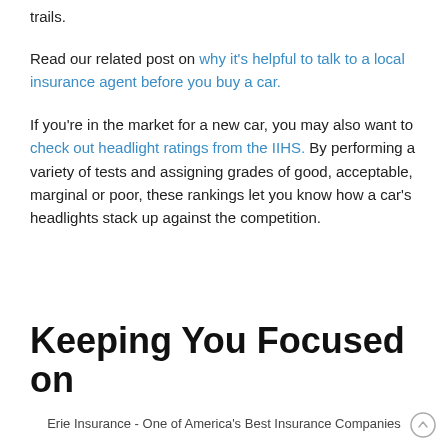trails.
Read our related post on why it's helpful to talk to a local insurance agent before you buy a car.
If you're in the market for a new car, you may also want to check out headlight ratings from the IIHS. By performing a variety of tests and assigning grades of good, acceptable, marginal or poor, these rankings let you know how a car's headlights stack up against the competition.
Keeping You Focused on
Erie Insurance - One of America's Best Insurance Companies